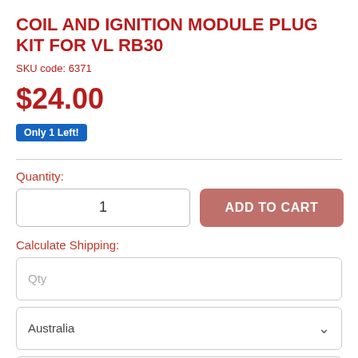COIL AND IGNITION MODULE PLUG KIT FOR VL RB30
SKU code: 6371
$24.00
Only 1 Left!
Quantity:
1
ADD TO CART
Calculate Shipping:
Qty
Australia